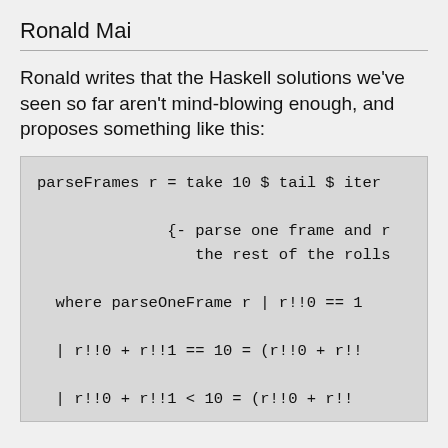Ronald Mai
Ronald writes that the Haskell solutions we've seen so far aren't mind-blowing enough, and proposes something like this:
[Figure (screenshot): Code block showing Haskell function parseFrames with where clause and parseOneFrame guards including r!!0 == 1, r!!0 + r!!1 == 10 = (r!!0 + r!!..., and r!!0 + r!!1 < 10 = (r!!0 + r!!...]